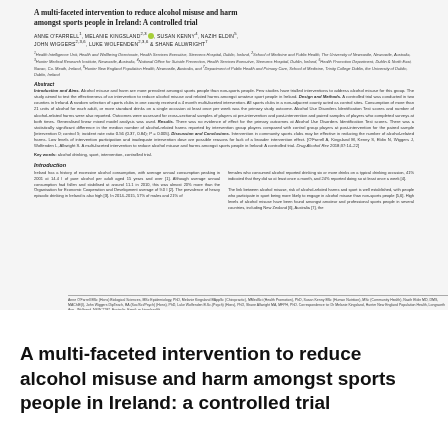A multi-faceted intervention to reduce alcohol misuse and harm amongst sports people in Ireland: A controlled trial
ANNE O'FARRELL1, MELANIE KINGSLAND2,3 [ORCID], SUSAN KENNY4, NAZIH ELDIN5, JOHN WIGGERS2,3,6, LUKE WOLFENDEN2,3,6 & SHANE ALLWRIGHT7
1Health Intelligence Unit, Health and Wellbeing Directorate, Health Services Executive, Steevens Hospital, Dublin, Ireland, 2School of Medicine and Public Health, The University of Newcastle, Newcastle, Australia, 3Hunter Medical Research Institute, Newcastle, Australia, 4National Office for Suicide Prevention, Health Services Executive, Steevens Hospital, Dublin, Ireland, 5Health Promotion Department, Dublin & North East, Navan, Co. Meath, Ireland, 6Hunter New England Population Health, Newcastle, Australia, and 7Department of Public Health and Primary Care, School of Medicine, Trinity College Dublin, the University of Dublin, Dublin, Ireland
Abstract
Introduction and Aims. Alcohol misuse and harm are more prevalent amongst sports people than non-sports people. Few studies have trialled interventions to address alcohol misuse for this group. The study aimed to test the effectiveness of an intervention to reduce alcohol misuse and related harms amongst amateur sports people in Ireland. Design and Methods. A controlled trial was conducted in two counties in Ireland. A random selection of sports clubs in one county received a 4-month multi-faceted intervention. All sports clubs in a non-adjacent county acted as control sites. Consumption of more than 21 units of alcohol for each adult, or more standard drinks on a single occasion at least once per week was the primary study outcome. Alcohol Use Disorders Identification Test scores and number of alcohol-related harms were also reported. Outcomes were assessed for cross-sectional samples of players at pre-intervention and post-intervention and paired samples of players who completed surveys at both times. Generalised linear mixed model analysis was used. Results. There was no evidence of effect for the primary outcomes at Alcohol Use Disorders Identification Test scores. There was a statistically significant difference in the median number of alcohol-related harms reported by intervention group players compared with control group players at post-intervention for the paired sample [intervention 0; control 5; incident rate ratio 0.56 (0.37, 0.84); P = 0.005]. Discussion and Conclusions. Intervention in community sports clubs may be effective in reducing the number of alcohol-related harms. Low levels of intervention participation and inadequate intervention dose are possible reasons for lack of a broader intervention effect. [O'Farrell A, Kingsland M, Kenny S, Eldin N, Wiggers J, Wolfenden L, Allwright S. A multi-faceted intervention to reduce alcohol misuse and harms amongst sports people in Ireland: A controlled trial. Drug Alcohol Rev 2018;37:14–22]
Key words: alcohol drinking, sport, intervention, controlled trial.
Introduction
Ireland has a history of excessive alcohol consumption, with average annual consumption peaking in 2001 at 14.4 l of pure alcohol per adult aged 15 years and over [1]. Although average annual consumption had fallen and stabilised at around 11.1 in 2010, this was almost 20% more than the Organisation for Economic Cooperation and Development average of 9.0 l [2]. The prevalence of heavy episodic drinking in Ireland is also high [3]. In 2014–2015, 57% of males and 21% of
females who consumed alcohol reported drinking six or more drinks on a typical drinking occasion, 41% indicated that they did so at least once a month, and 24% reported doing so at least once a week [4]. The link between alcohol misuse, risk of alcohol-related harms and sport is well established, with people who participate in sport being more likely to engage in alcohol misuse than non-sports people [5,6]. High levels of alcohol misuse have been found amongst amateur and professional sports people in several countries, including New Zealand [6], Australia [7], the
Anne O'Farrell BSc (Hons) Biological Sciences, MSc Epidemiology, PhD, Melanie Kingsland BAppSc (Chiropractic), MMedSci (Health Promotion), PhD, Susan Kenny BSc (Human Nutrition), MSc (Community Health), Nazih Eldin MD, DMS, MAChlE(I), John Wiggers DipTeach, BA (Soc/Sci/Psych) (Hons), PhD, Luke Wolfenden B.Sc.(Psych) (Hons), PhD, Shane Allwright MA, MFPH, PhD. Correspondence to: Dr Melanie Kingsland, Hunter New England Population Health, Longworth Ave., Wallsend, NSW 2287, Australia. Email: m.kingsland@...
A multi-faceted intervention to reduce alcohol misuse and harm amongst sports people in Ireland: a controlled trial